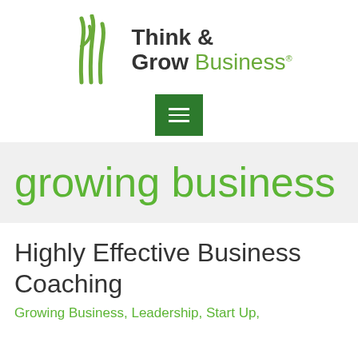[Figure (logo): Think & Grow Business logo with green stylized plant/grass icon on the left and text 'Think & Grow Business®' on the right]
[Figure (other): Green hamburger menu button with three white horizontal lines]
growing business
Highly Effective Business Coaching
Growing Business, Leadership, Start Up,